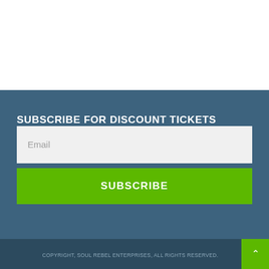SUBSCRIBE FOR DISCOUNT TICKETS
Email
SUBSCRIBE
COPYRIGHT, SOUL REBEL ENTERPRISES, ALL RIGHTS RESERVED.